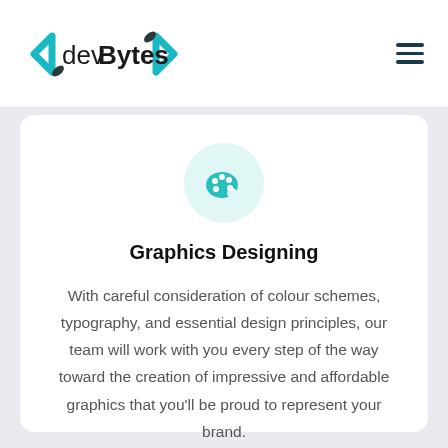[Figure (logo): devBytes logo with cyan and dark angle bracket chevrons and bold text]
[Figure (illustration): Hamburger menu icon with three horizontal lines]
[Figure (illustration): Teal paint palette icon inside a light teal circular background]
Graphics Designing
With careful consideration of colour schemes, typography, and essential design principles, our team will work with you every step of the way toward the creation of impressive and affordable graphics that you'll be proud to represent your brand.